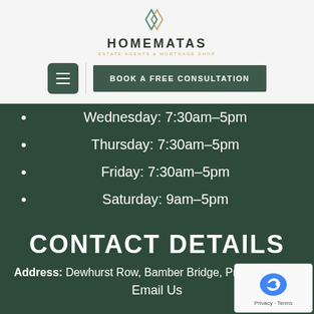[Figure (logo): Homematas logo with two overlapping diamond/hexagon shapes in teal and gold, company name HOMEMATAS and tagline below]
[Figure (screenshot): Navigation bar with hamburger menu button and BOOK A FREE CONSULTATION button]
Wednesday: 7:30am–5pm
Thursday: 7:30am–5pm
Friday: 7:30am–5pm
Saturday: 9am–5pm
Sunday: Closed
CONTACT DETAILS
Address: Dewhurst Row, Bamber Bridge, Preston P...
Email Us